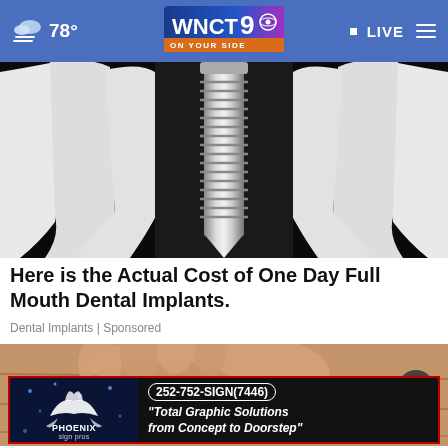☁ 78° | WNCT9 ON YOUR SIDE | LIVE
[Figure (photo): 3D rendering of a dental implant screw surrounded by white teeth on a dark background]
Here is the Actual Cost of One Day Full Mouth Dental Implants.
Dental Implants | Sponsored
[Figure (photo): Close-up photo of a person's foot/toes on a wooden surface]
[Figure (logo): Phoenix Sign Pros advertisement banner with phone number 252-752-SIGN(7446) and tagline 'Total Graphic Solutions from Concept to Doorstep']